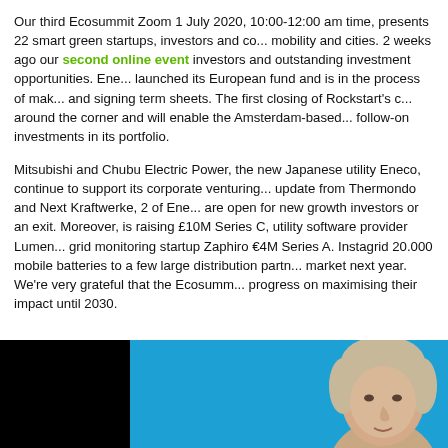Our third Ecosummit Zoom 1 July 2020, 10:00-12:00 am time, presents 22 smart green startups, investors and co... mobility and cities. 2 weeks ago our second online event investors and outstanding investment opportunities. Ene... launched its European fund and is in the process of mak... and signing term sheets. The first closing of Rockstart's c... around the corner and will enable the Amsterdam-based... follow-on investments in its portfolio.
Mitsubishi and Chubu Electric Power, the new Japanese utility Eneco, continue to support its corporate venturing... update from Thermondo and Next Kraftwerke, 2 of Ene... are open for new growth investors or an exit. Moreover, is raising £10M Series C, utility software provider Lumen... grid monitoring startup Zaphiro €4M Series A. Instagrid 20.000 mobile batteries to a few large distribution partn... market next year. We're very grateful that the Ecosumm... progress on maximising their impact until 2030.
[Figure (photo): Photo section with black area on left and blue background on right showing a person's face (blonde/grey hair) partially visible on the right side]